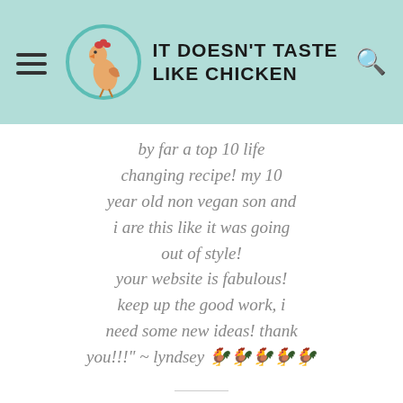IT DOESN'T TASTE LIKE CHICKEN
by far a top 10 life changing recipe! my 10 year old non vegan son and i are this like it was going out of style! your website is fabulous! keep up the good work, i need some new ideas! thank you!!!" ~ lyndsey 🐓🐓🐓🐓🐓
[Figure (illustration): Partially visible illustration at bottom of page, showing sketch-style lines suggesting decorative or recipe imagery, inside a light bordered rectangle]